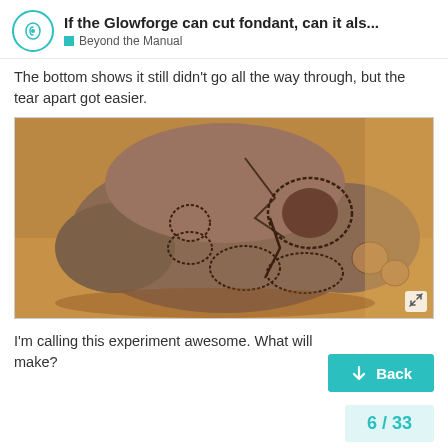If the Glowforge can cut fondant, can it als... | Beyond the Manual
The bottom shows it still didn't go all the way through, but the tear apart got easier.
[Figure (photo): Photo of a clay or fondant piece shaped like a skull/creature face with laser-cut circular markings, sitting on a wooden surface]
I'm calling this experiment awesome. What will make?